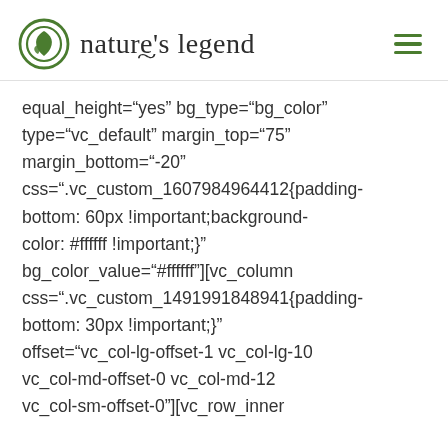[Figure (logo): Nature's Legend logo with green circular leaf icon and brand name in serif font]
equal_height="yes" bg_type="bg_color" type="vc_default" margin_top="75" margin_bottom="-20" css=".vc_custom_1607984964412{padding-bottom: 60px !important;background-color: #ffffff !important;}" bg_color_value="#ffffff"][vc_column css=".vc_custom_1491991848941{padding-bottom: 30px !important;}" offset="vc_col-lg-offset-1 vc_col-lg-10 vc_col-md-offset-0 vc_col-md-12 vc_col-sm-offset-0"][vc_row_inner